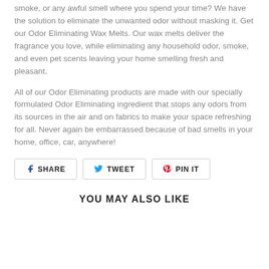smoke, or any awful smell where you spend your time? We have the solution to eliminate the unwanted odor without masking it. Get our Odor Eliminating Wax Melts. Our wax melts deliver the fragrance you love, while eliminating any household odor, smoke, and even pet scents leaving your home smelling fresh and pleasant.
All of our Odor Eliminating products are made with our specially formulated Odor Eliminating ingredient that stops any odors from its sources in the air and on fabrics to make your space refreshing for all. Never again be embarrassed because of bad smells in your home, office, car, anywhere!
SHARE  TWEET  PIN IT
YOU MAY ALSO LIKE